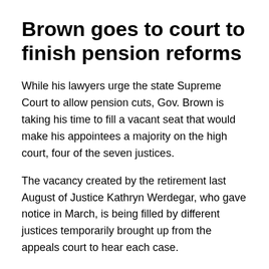Brown goes to court to finish pension reforms
While his lawyers urge the state Supreme Court to allow pension cuts, Gov. Brown is taking his time to fill a vacant seat that would make his appointees a majority on the high court, four of the seven justices.
The vacancy created by the retirement last August of Justice Kathryn Werdegar, who gave notice in March, is being filled by different justices temporarily brought up from the appeals court to hear each case.
“It’s not something I want to do too quickly,” Brown said at a state budget news conference last week. “It’s very important now. I have appointed three. The fourth could be